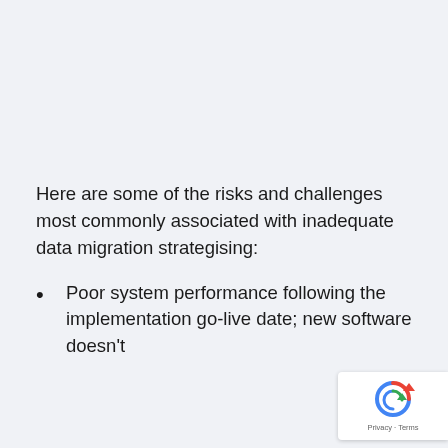Here are some of the risks and challenges most commonly associated with inadequate data migration strategising:
Poor system performance following the implementation go-live date; new software doesn't